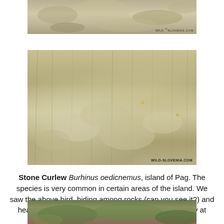[Figure (photo): Partial top photo showing rocky/stony ground with sparse vegetation, watermark 'WILD SLOVENIA.COM' bottom right]
[Figure (photo): Main photo of Stone Curlew camouflaged among rocks and dry grass vegetation, watermark 'WILD-SLOVENIA.COM' bottom right]
Stone Curlew Burhinus oedicnemus, island of Pag. The species is very common in certain areas of the island. We saw the above bird, hiding among rocks (can you see it?) and heard several other birds calling repeatedly, especially at dusk.
[Figure (photo): Partial bottom photo showing low scrubby green vegetation]